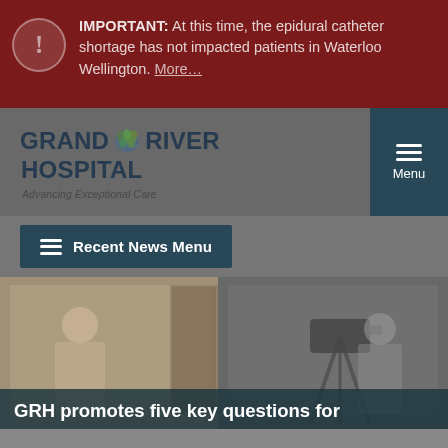IMPORTANT: At this time, the epidural catheter shortage has not impacted patients in Waterloo Wellington. More...
[Figure (logo): Grand River Hospital logo with maple leaf emblem and tagline 'Advancing Exceptional Care']
Recent News Menu
[Figure (photo): Two-panel photo: left panel shows a healthcare worker in a hospital room, right panel shows a person with a video camera on a tripod]
GRH promotes five key questions for